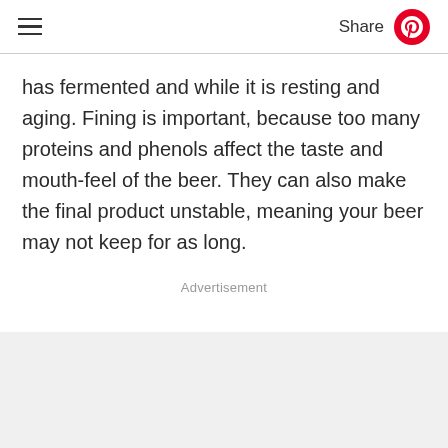☰  Share
has fermented and while it is resting and aging. Fining is important, because too many proteins and phenols affect the taste and mouth-feel of the beer. They can also make the final product unstable, meaning your beer may not keep for as long.
Advertisement